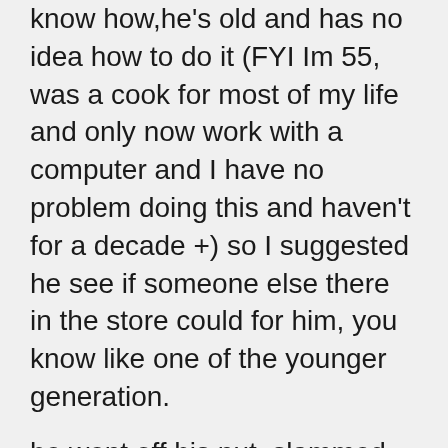know how,he's old and has no idea how to do it (FYI Im 55, was a cook for most of my life and only now work with a computer and I have no problem doing this and haven't for a decade +) so I suggested he see if someone else there in the store could for him, you know like one of the younger generation.
he went off his nut, slammed down the phone and then yesterday had the store manager on the phone making threats for being 'ageist'. FFS I'm 20 years older than her and 8 years older than the person in store!

And thats pretty much why when I pick up